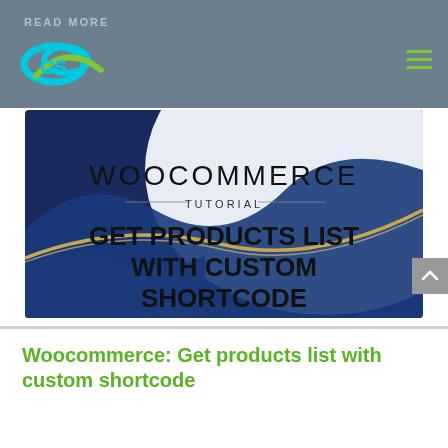READ MORE
[Figure (screenshot): WooCommerce Tutorial banner: dark blue and white wave design with gold accent curve, text 'WOOCOMMERCE TUTORIAL' and bold heading 'GET PRODUCTS LIST WITH CUSTOM SHORTCODE']
Woocommerce: Get products list with custom shortcode